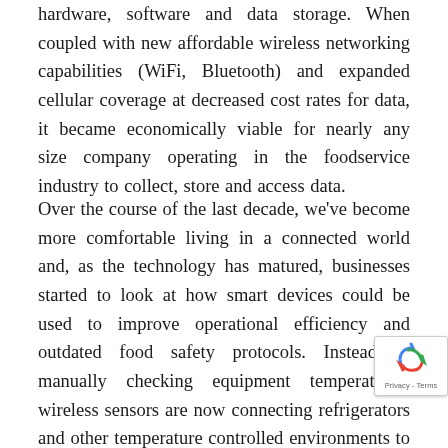hardware, software and data storage. When coupled with new affordable wireless networking capabilities (WiFi, Bluetooth) and expanded cellular coverage at decreased cost rates for data, it became economically viable for nearly any size company operating in the foodservice industry to collect, store and access data.
Over the course of the last decade, we've become more comfortable living in a connected world and, as the technology has matured, businesses started to look at how smart devices could be used to improve operational efficiency and outdated food safety protocols. Instead of manually checking equipment temperatures, wireless sensors are now connecting refrigerators and other temperature controlled environments to the cloud. Any operator w... smartphone is now able to view these temperatu... receive alerts) in real-time to ensure equipmen... product temperatures meet company standards and...